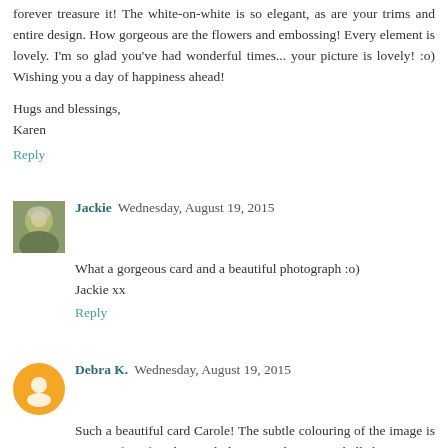forever treasure it! The white-on-white is so elegant, as are your trims and entire design. How gorgeous are the flowers and embossing! Every element is lovely. I'm so glad you've had wonderful times... your picture is lovely! :o) Wishing you a day of happiness ahead!
Hugs and blessings,
Karen
Reply
Jackie  Wednesday, August 19, 2015
What a gorgeous card and a beautiful photograph :o)
Jackie xx
Reply
Debra K.  Wednesday, August 19, 2015
Such a beautiful card Carole! The subtle colouring of the image is just perfect for the card design and your embellishments are lovely. I'm pleased you found a use for my candy. It's a great idea